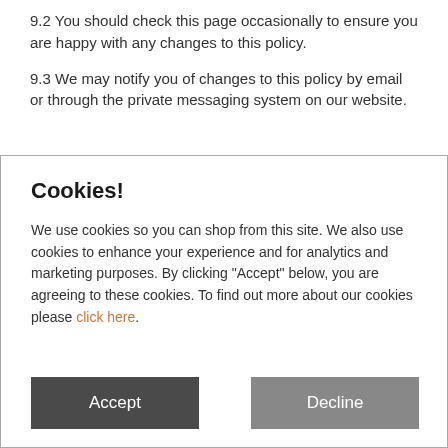9.2 You should check this page occasionally to ensure you are happy with any changes to this policy.
9.3 We may notify you of changes to this policy by email or through the private messaging system on our website.
Cookies!
We use cookies so you can shop from this site. We also use cookies to enhance your experience and for analytics and marketing purposes. By clicking "Accept" below, you are agreeing to these cookies. To find out more about our cookies please click here.